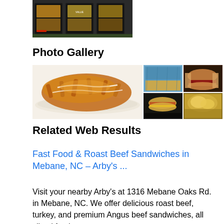[Figure (photo): McDonald's drive-through menu board]
Photo Gallery
[Figure (photo): Photo gallery collage showing food items: loaded fries, wrapped sandwiches, burgers]
Related Web Results
Fast Food & Roast Beef Sandwiches in Mebane, NC – Arby's ...
Visit your nearby Arby's at 1316 Mebane Oaks Rd. in Mebane, NC. We offer delicious roast beef, turkey, and premium Angus beef sandwiches, all sliced fresh.